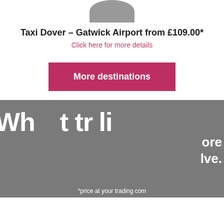[Figure (illustration): Partial top of a taxi/car graphic, gray semi-circular shape suggesting the roof of a vehicle]
Taxi Dover – Gatwick Airport from £109.00*
Click here for more details
More destinations
This website uses cookies to ensure you get the best experience on our website
Learn more
Got it!